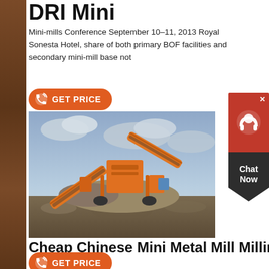DRI Mini
Mini-mills Conference September 10-11, 2013 Royal Sonesta Hotel, share of both primary BOF facilities and secondary mini-mill base not
[Figure (other): Orange GET PRICE button with phone icon]
[Figure (photo): Industrial mining/milling equipment - orange conveyor belts and crushing machinery on a gravel/dirt site with cloudy sky]
Cheap Chinese Mini Metal Mill Milling M
[Figure (other): Orange GET PRICE button with phone icon]
[Figure (photo): Industrial building/structure with blue sky, partially visible at bottom of page]
[Figure (other): Chat Now widget - red top with headset icon, dark grey bottom with chat now text]